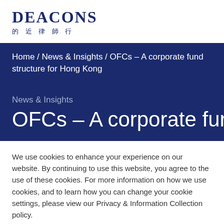[Figure (logo): Deacons law firm logo with English name 'DEACONS' and Chinese characters '的 近 律 師 行']
Home / News & Insights / OFCs – A corporate fund structure for Hong Kong
News & Insights
OFCs – A corporate fund
We use cookies to enhance your experience on our website. By continuing to use this website, you agree to the use of these cookies. For more information on how we use cookies, and to learn how you can change your cookie settings, please view our Privacy & Information Collection policy.
Close